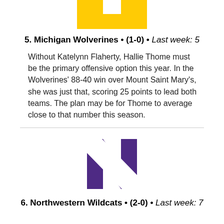[Figure (logo): Michigan Wolverines logo - yellow/gold M shape made of two rectangular blocks with a small V notch]
5. Michigan Wolverines • (1-0) • Last week: 5
Without Katelynn Flaherty, Hallie Thome must be the primary offensive option this year. In the Wolverines' 88-40 win over Mount Saint Mary's, she was just that, scoring 25 points to lead both teams. The plan may be for Thome to average close to that number this season.
[Figure (logo): Northwestern Wildcats logo - bold purple N letter with white diagonal stripe]
6. Northwestern Wildcats • (2-0) • Last week: 7